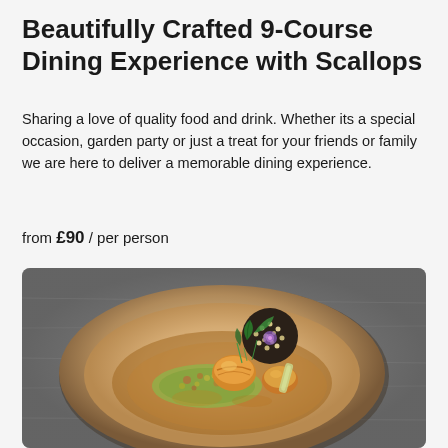Beautifully Crafted 9-Course Dining Experience with Scallops
Sharing a love of quality food and drink. Whether its a special occasion, garden party or just a treat for your friends or family we are here to deliver a memorable dining experience.
from £90 / per person
[Figure (photo): A beautifully plated scallop dish served in a rustic earthenware bowl with colorful vegetable garnish, sesame-crusted element, fresh greens, and a rich broth sauce, photographed on a stainless steel surface.]